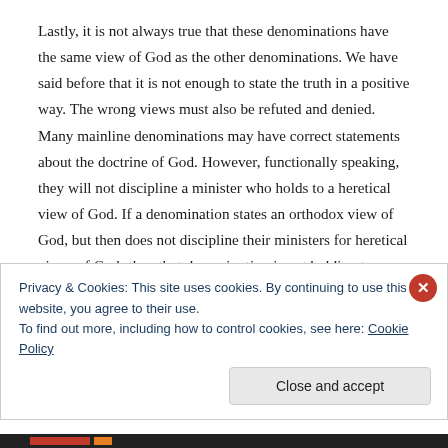Lastly, it is not always true that these denominations have the same view of God as the other denominations. We have said before that it is not enough to state the truth in a positive way. The wrong views must also be refuted and denied. Many mainline denominations may have correct statements about the doctrine of God. However, functionally speaking, they will not discipline a minister who holds to a heretical view of God. If a denomination states an orthodox view of God, but then does not discipline their ministers for heretical views of God, then that denomination is not holding to an orthodox view of God. The reasoning for this is simple: the denomination, by failing to discipline heretical views, is stating that a variety of views on God’s person is acceptable.
Privacy & Cookies: This site uses cookies. By continuing to use this website, you agree to their use.
To find out more, including how to control cookies, see here: Cookie Policy